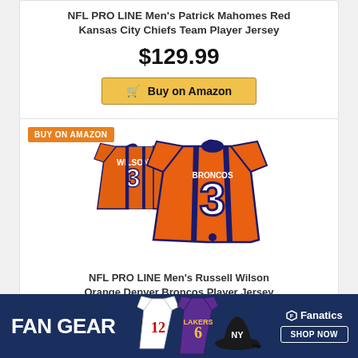NFL PRO LINE Men's Patrick Mahomes Red Kansas City Chiefs Team Player Jersey
$129.99
Buy on Amazon
BUY ON AMAZON
[Figure (photo): Two orange Denver Broncos #3 Wilson jerseys shown front and back]
NFL PRO LINE Men's Russell Wilson Orange Denver Broncos Player Jersey
Buy on Amazon
[Figure (photo): Fan Gear advertising banner with sports jerseys and Fanatics logo]
FAN GEAR
Fanatics SHOP NOW